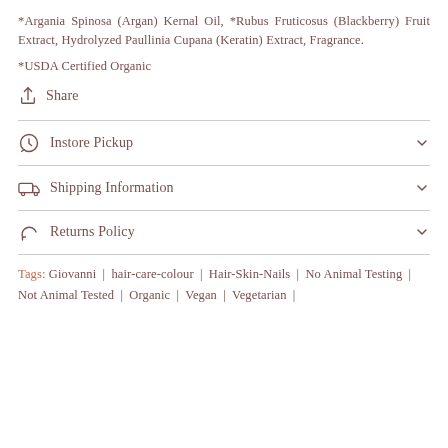*Argania Spinosa (Argan) Kernal Oil, *Rubus Fruticosus (Blackberry) Fruit Extract, Hydrolyzed Paullinia Cupana (Keratin) Extract, Fragrance.
*USDA Certified Organic
Share
Instore Pickup
Shipping Information
Returns Policy
Tags: Giovanni | hair-care-colour | Hair-Skin-Nails | No Animal Testing | Not Animal Tested | Organic | Vegan | Vegetarian |